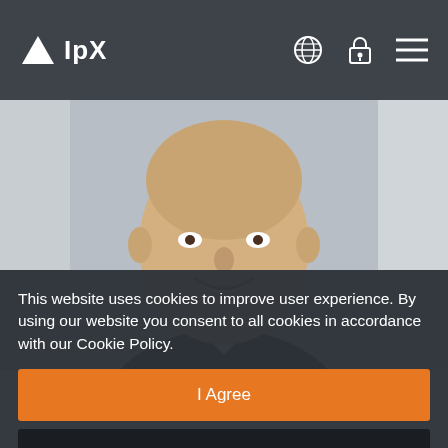IpX — navigation bar with globe, lock, and menu icons
[Figure (photo): Professional headshot of a smiling bald man in a dark suit, with blurred gray background. Photo is centered with gray vertical strips on both sides.]
This website uses cookies to improve user experience. By using our website you consent to all cookies in accordance with our Cookie Policy.
I Agree
I Disagree
Learn More